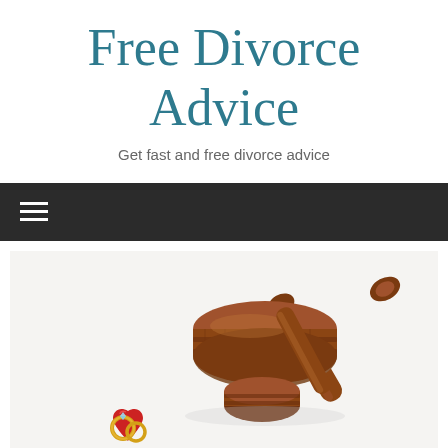Free Divorce Advice
Get fast and free divorce advice
[Figure (photo): Navigation bar with hamburger menu icon on dark background]
[Figure (photo): Wooden judge gavel with a gold ring on a red heart-shaped velvet cushion, symbolizing divorce proceedings, on white background]